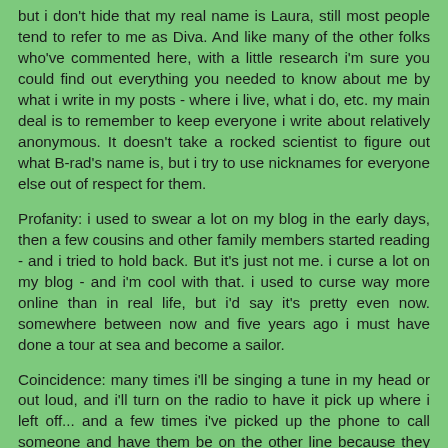but i don't hide that my real name is Laura, still most people tend to refer to me as Diva. And like many of the other folks who've commented here, with a little research i'm sure you could find out everything you needed to know about me by what i write in my posts - where i live, what i do, etc. my main deal is to remember to keep everyone i write about relatively anonymous. It doesn't take a rocked scientist to figure out what B-rad's name is, but i try to use nicknames for everyone else out of respect for them.
Profanity: i used to swear a lot on my blog in the early days, then a few cousins and other family members started reading - and i tried to hold back. But it's just not me. i curse a lot on my blog - and i'm cool with that. i used to curse way more online than in real life, but i'd say it's pretty even now. somewhere between now and five years ago i must have done a tour at sea and become a sailor.
Coincidence: many times i'll be singing a tune in my head or out loud, and i'll turn on the radio to have it pick up where i left off... and a few times i've picked up the phone to call someone and have them be on the other line because they were calling me at the same time.